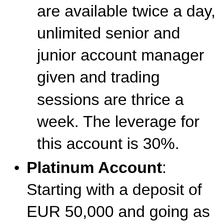are available twice a day, unlimited senior and junior account manager given and trading sessions are thrice a week. The leverage for this account is 30%.
Platinum Account: Starting with a deposit of EUR 50,000 and going as high as EUR 250,000, this account increases your loyalty bonus to 40%, gives